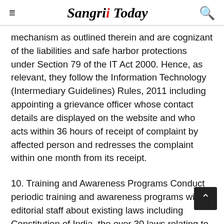Sangri Today
mechanism as outlined therein and are cognizant of the liabilities and safe harbor protections under Section 79 of the IT Act 2000. Hence, as relevant, they follow the Information Technology (Intermediary Guidelines) Rules, 2011 including appointing a grievance officer whose contact details are displayed on the website and who acts within 36 hours of receipt of complaint by affected person and redresses the complaint within one month from its receipt.
10. Training and Awareness Programs Conduct periodic training and awareness programs with editorial staff about existing laws including Constitution of India, the over 30 laws relating to the media like The Indecent Representation of Women (Prohibition) Act, Copyright Act, Right to Information Act, relevant provisions of Indian Penal Code and CrPC, civil and criminal...